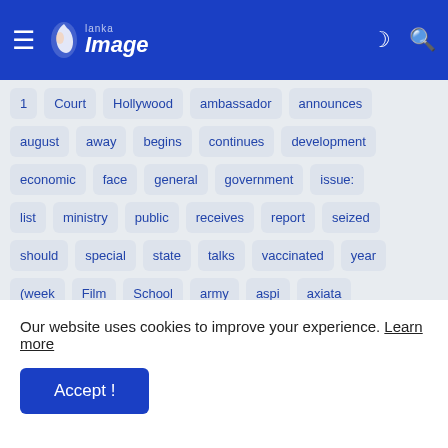Lanka Image — navigation header with hamburger menu, logo, moon icon, search icon
1
Court
Hollywood
ambassador
announces
august
away
begins
continues
development
economic
face
general
government
issue:
list
ministry
public
receives
report
seized
should
special
state
talks
vaccinated
year
(week
Film
School
army
aspi
axiata
club
combank
drive
drops
easter
fight
force
gets
growth
know
like
most
Our website uses cookies to improve your experience. Learn more
Accept !